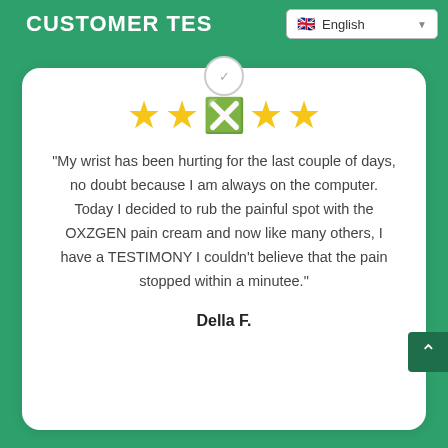CUSTOMER TES
[Figure (screenshot): Language selector dropdown showing English with flag icon]
[Figure (infographic): Five star rating with a loading/spinner icon on the third star]
"My wrist has been hurting for the last couple of days, no doubt because I am always on the computer. Today I decided to rub the painful spot with the OXZGEN pain cream and now like many others, I have a TESTIMONY I couldn't believe that the pain stopped within a minutee."
Della F.